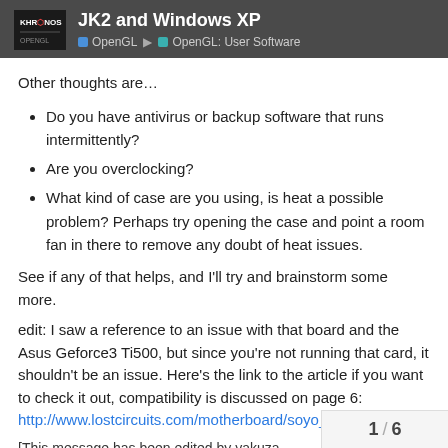JK2 and Windows XP | OpenGL | OpenGL: User Software
Other thoughts are…
Do you have antivirus or backup software that runs intermittently?
Are you overclocking?
What kind of case are you using, is heat a possible problem? Perhaps try opening the case and point a room fan in there to remove any doubt of heat issues.
See if any of that helps, and I'll try and brainstorm some more.
edit: I saw a reference to an issue with that board and the Asus Geforce3 Ti500, but since you're not running that card, it shouldn't be an issue. Here's the link to the article if you want to check it out, compatibility is discussed on page 6: http://www.lostcircuits.com/motherboard/soyo_k7v/
[This message has been edited by yakuza
1 / 6